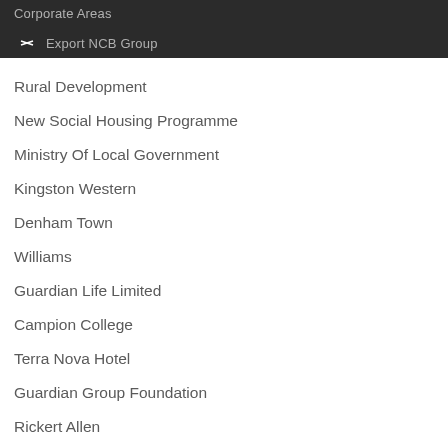Corporate Areas
Export NCB Group
Rural Development
New Social Housing Programme
Ministry Of Local Government
Kingston Western
Denham Town
Williams
Guardian Life Limited
Campion College
Terra Nova Hotel
Guardian Group Foundation
Rickert Allen
Ministry
NCB Foundation
NCB
National Commercial Bank
Hyatt Ziva
Goldeneye